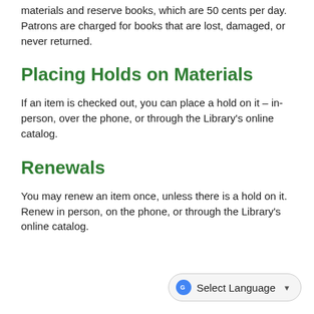materials and reserve books, which are 50 cents per day. Patrons are charged for books that are lost, damaged, or never returned.
Placing Holds on Materials
If an item is checked out, you can place a hold on it – in-person, over the phone, or through the Library's online catalog.
Renewals
You may renew an item once, unless there is a hold on it. Renew in person, on the phone, or through the Library's online catalog.
Select Language